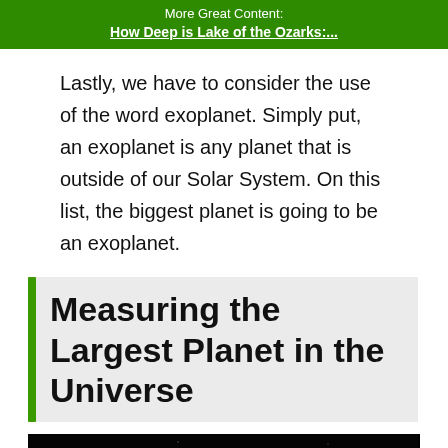More Great Content:
How Deep is Lake of the Ozarks:...
Lastly, we have to consider the use of the word exoplanet. Simply put, an exoplanet is any planet that is outside of our Solar System. On this list, the biggest planet is going to be an exoplanet.
Measuring the Largest Planet in the Universe
[Figure (photo): Dark space background with a partially visible large planet showing orange and red bands at the bottom of the image.]